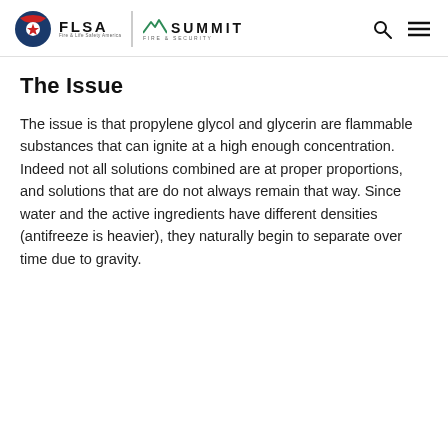FLSA | SUMMIT FIRE & SECURITY
The Issue
The issue is that propylene glycol and glycerin are flammable substances that can ignite at a high enough concentration. Indeed not all solutions combined are at proper proportions, and solutions that are do not always remain that way. Since water and the active ingredients have different densities (antifreeze is heavier), they naturally begin to separate over time due to gravity.